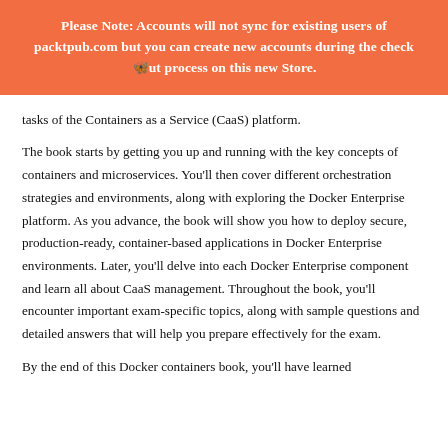Please Note: Accounts will not sync for existing users of packtpub.com but you can create new accounts during the checkout process on this new Store.
tasks of the Containers as a Service (CaaS) platform.
The book starts by getting you up and running with the key concepts of containers and microservices. You'll then cover different orchestration strategies and environments, along with exploring the Docker Enterprise platform. As you advance, the book will show you how to deploy secure, production-ready, container-based applications in Docker Enterprise environments. Later, you'll delve into each Docker Enterprise component and learn all about CaaS management. Throughout the book, you'll encounter important exam-specific topics, along with sample questions and detailed answers that will help you prepare effectively for the exam.
By the end of this Docker containers book, you'll have learned